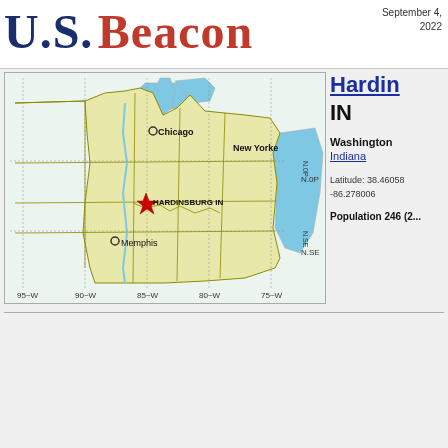U.S. Beacon
September 4, 2022
[Figure (map): Map of eastern United States showing location of Hardinsburg, IN marked with a red star. Cities labeled include Chicago, New York, and Memphis. Map shows state boundaries and Great Lakes. Longitude markers: 95W, 90W, 85W, 80W, 75W. Latitude markers ~35N, 40N.]
Hardinsburg IN
Washington County, Indiana
Latitude: 38.46058, -86.278006
Population 246 (2...